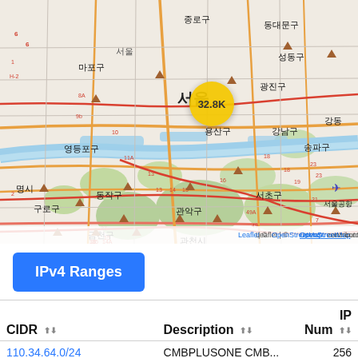[Figure (map): OpenStreetMap of Seoul, South Korea and surrounding districts (마포구, 서대문구, 종로구, 동대문구, 성동구, 영등포구, 용산구, 강남구, 동작구, 관악구, 서초구, 구로구, 금천구, 과천시, 송파구, 강동, 광진구). A yellow cluster marker labeled '32.8K' is shown near the center of Seoul. Road numbers and district names in Korean are visible. Attribution: Leaflet | © OpenStreetMap contributors.]
IPv4 Ranges
| CIDR | Description | IP Num |
| --- | --- | --- |
| 110.34.64.0/24 | CMBPLUSONE CMB... | 256 |